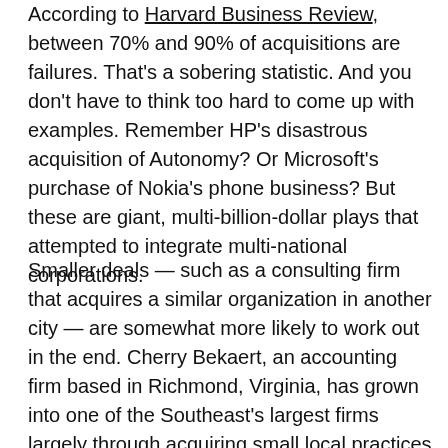According to Harvard Business Review, between 70% and 90% of acquisitions are failures. That's a sobering statistic. And you don't have to think too hard to come up with examples. Remember HP's disastrous acquisition of Autonomy? Or Microsoft's purchase of Nokia's phone business? But these are giant, multi-billion-dollar plays that attempted to integrate multi-national corporations.
Smaller deals — such as a consulting firm that acquires a similar organization in another city — are somewhat more likely to work out in the end. Cherry Bekaert, an accounting firm based in Richmond, Virginia, has grown into one of the Southeast's largest firms largely through acquiring small local practices over time. The strategy has worked because the companies they acquired were operated by accountants like themselves. The cultures were not all that